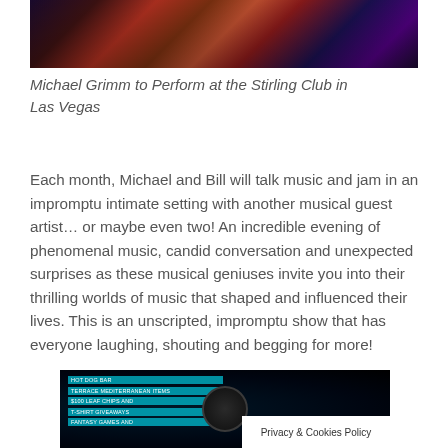[Figure (photo): A photo of musicians performing on stage, with guitars and colorful stage lighting in purple and red tones.]
Michael Grimm to Perform at the Stirling Club in Las Vegas
Each month, Michael and Bill will talk music and jam in an impromptu intimate setting with another musical guest artist… or maybe even two! An incredible evening of phenomenal music, candid conversation and unexpected surprises as these musical geniuses invite you into their thrilling worlds of music that shaped and influenced their lives. This is an unscripted, impromptu show that has everyone laughing, shouting and begging for more!
[Figure (photo): A dark photo showing a venue or screen display with cyan/teal text overlays listing items (hot dog bar, terrace, Mediterranean items, etc.), a circular logo/emblem in the center, and a 'Privacy & Cookies Policy' banner overlay in the bottom right corner.]